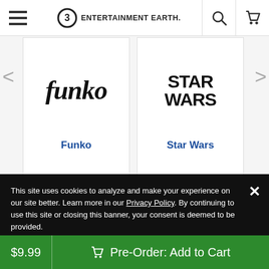Entertainment Earth navigation bar with menu, logo, search, and cart icons
[Figure (logo): Funko brand logo in italic script font]
Funko
[Figure (logo): Star Wars logo in bold block letters]
Star Wars
Entertainment Earth, Inc. markets and sells products, including children's products, for purchase by adults 18 years and over. If any product you are ordering is intended for a child please assume all of the following warnings may apply to that product:
This site uses cookies to analyze and make your experience on our site better. Learn more in our Privacy Policy. By continuing to use this site or closing this banner, your consent is deemed to be provided.
$9.99
Pre-Order: Add to Cart